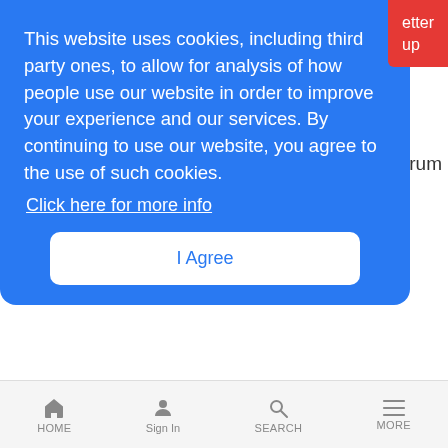This website uses cookies, including third party ones, to allow for analysis of how people use our website in order to improve your experience and our services. By continuing to use our website, you agree to the use of such cookies.
Click here for more info
I Agree
Putting Your Money Where Your Mouth Is
LR Mobile News Analysis | 1/3/2003
Vodafone executive invests $1.2 million in parent company shares
Level 3 President Sheds Shares
HOME  Sign In  SEARCH  MORE